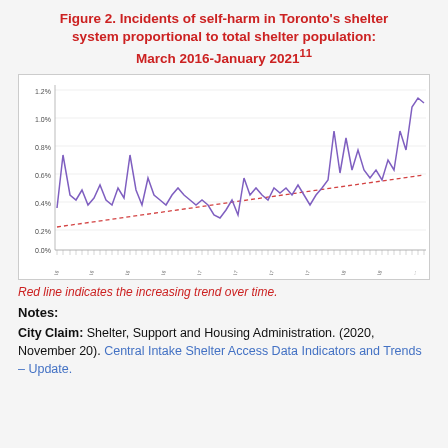Figure 2. Incidents of self-harm in Toronto's shelter system proportional to total shelter population: March 2016-January 2021¹¹
[Figure (continuous-plot): Line chart showing incidents of self-harm in Toronto's shelter system proportional to total shelter population from March 2016 to January 2021. A purple/violet jagged line shows monthly rates fluctuating roughly between 0.2% and 1.3%, with a general upward trend indicated by a dashed red trend line. The y-axis shows percentages from 0.0% to 1.2%. The x-axis shows monthly dates from March 2016 to January 2021 with tick marks for each month.]
Red line indicates the increasing trend over time.
Notes:
City Claim: Shelter, Support and Housing Administration. (2020, November 20). Central Intake Shelter Access Data Indicators and Trends – Update.